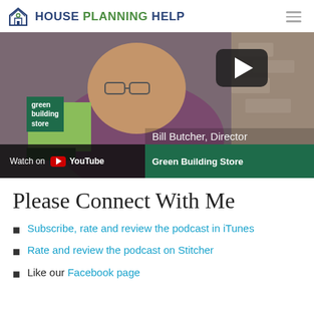House Planning Help
[Figure (screenshot): YouTube video thumbnail showing Bill Butcher, Director of Green Building Store, with a play button overlay. Bottom bar shows 'Watch on YouTube' on the left and 'Bill Butcher, Director / Green Building Store' on the right with green background.]
Please Connect With Me
Subscribe, rate and review the podcast in iTunes
Rate and review the podcast on Stitcher
Like our Facebook page